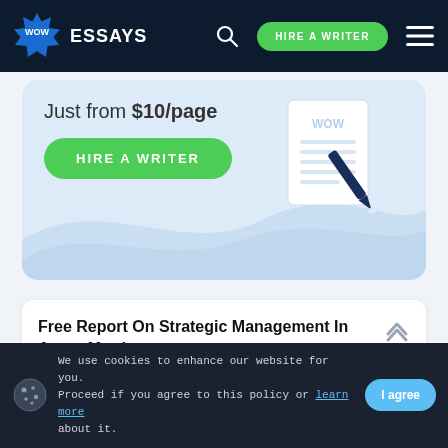WOW ESSAYS | HIRE A WRITER
Just from $10/page
HIRE A WRITER
[Figure (illustration): Document with pen icon and WOW watermark]
Free Report On Strategic Management In Aston Martin
Abstract
We use cookies to enhance our website for you. Proceed if you agree to this policy or learn more about it. | I agree